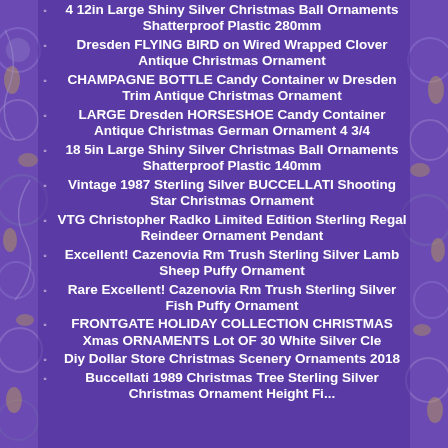4 12in Large Shiny Silver Christmas Ball Ornaments Shatterproof Plastic 280mm
Dresden FLYING BIRD on Wired Wrapped Clover Antique Christmas Ornament
CHAMPAGNE BOTTLE Candy Container w Dresden Trim Antique Christmas Ornament
LARGE Dresden HORSESHOE Candy Container Antique Christmas German Ornament 4 3/4
18 5in Large Shiny Silver Christmas Ball Ornaments Shatterproof Plastic 140mm
Vintage 1987 Sterling Silver BUCCELLATI Shooting Star Christmas Ornament
VTG Christopher Radko Limited Edition Sterling Regal Reindeer Ornament Pendant
Excellent! Cazenovia Rm Trush Sterling Silver Lamb Sheep Puffy Ornament
Rare Excellent! Cazenovia Rm Trush Sterling Silver Fish Puffy Ornament
FRONTGATE HOLIDAY COLLECTION CHRISTMAS Xmas ORNAMENTS Lot OF 30 White Silver Cle
Diy Dollar Store Christmas Scenery Ornaments 2018
Buccellati 1989 Christmas Tree Sterling Silver Christmas Ornament Height Fi...